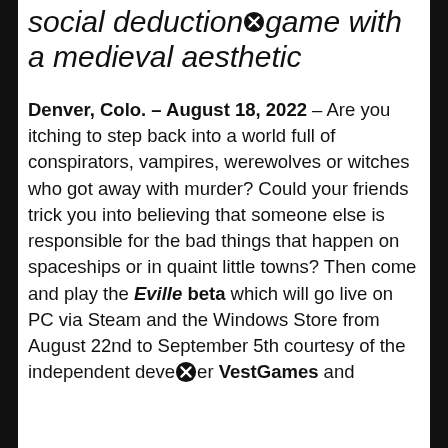social deduction game with a medieval aesthetic
Denver, Colo. – August 18, 2022 – Are you itching to step back into a world full of conspirators, vampires, werewolves or witches who got away with murder? Could your friends trick you into believing that someone else is responsible for the bad things that happen on spaceships or in quaint little towns? Then come and play the Eville beta which will go live on PC via Steam and the Windows Store from August 22nd to September 5th courtesy of the independent developer VestGames and